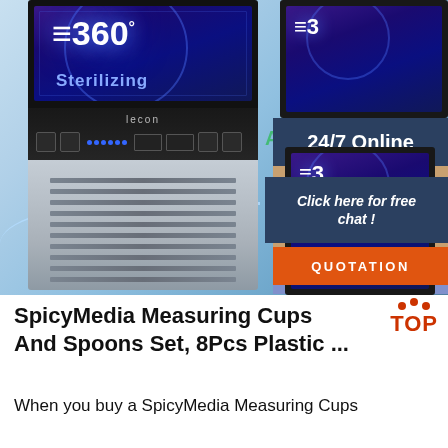[Figure (photo): Product listing page showing an ice making machine (lecon brand) with 360° Sterilizing display, alongside a customer service popup with '24/7 Online', 'Click here for free chat!', and 'QUOTATION' button. Also shows 'Auto C' and 'Blue Steri' labels.]
SpicyMedia Measuring Cups And Spoons Set, 8Pcs Plastic ...
When you buy a SpicyMedia Measuring Cups